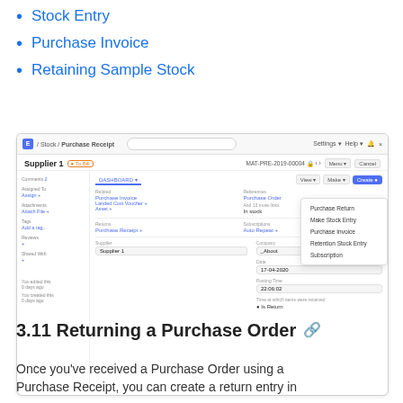Stock Entry
Purchase Invoice
Retaining Sample Stock
[Figure (screenshot): Screenshot of a Purchase Receipt form in an ERP system (ERPNext/Frappe) showing Supplier 1 with a dropdown menu open from the 'Make' button, listing options: Purchase Return, Make Stock Entry, Purchase Invoice, Retention Stock Entry, Subscription.]
3.11 Returning a Purchase Order
Once you've received a Purchase Order using a Purchase Receipt, you can create a return entry in